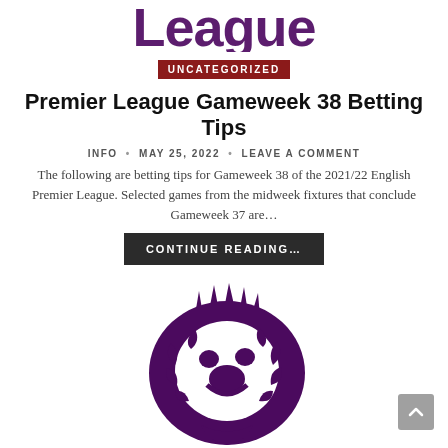[Figure (logo): Premier League logo text 'League' in large bold purple font, partially cropped at top]
UNCATEGORIZED
Premier League Gameweek 38 Betting Tips
INFO • MAY 25, 2022 • LEAVE A COMMENT
The following are betting tips for Gameweek 38 of the 2021/22 English Premier League. Selected games from the midweek fixtures that conclude Gameweek 37 are…
CONTINUE READING…
[Figure (logo): Premier League lion logo in dark purple/maroon color, showing a crowned lion head inside a circular emblem]